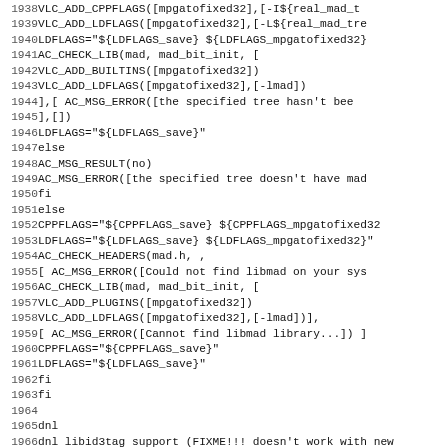Code listing lines 1938-1970, autoconf/shell script code for VLC media player build system